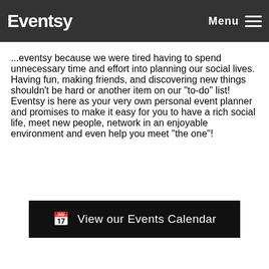Eventsy  Menu ☰
...eventsy because we were tired having to spend unnecessary time and effort into planning our social lives. Having fun, making friends, and discovering new things shouldn't be hard or another item on our “to-do” list! Eventsy is here as your very own personal event planner and promises to make it easy for you to have a rich social life, meet new people, network in an enjoyable environment and even help you meet “the one”!
View our Events Calendar